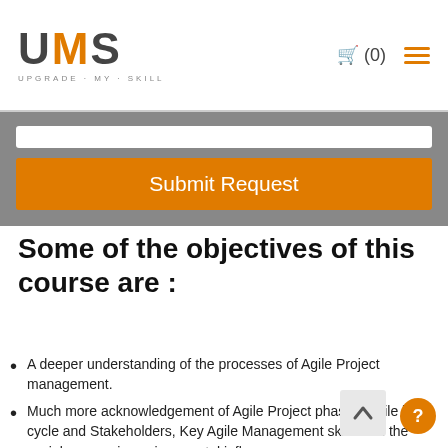UMS UPGRADE MY SKILL (0)
[Figure (screenshot): Submit Request button on grey background with white input bar above it]
Some of the objectives of this course are :
A deeper understanding of the processes of Agile Project management.
Much more acknowledgement of Agile Project phases, Agile life cycle and Stakeholders, Key Agile Management skills and the social-economic-environmental influences.
Candidates can train themselves key Agile Project management processes of product backlog, Sprint Planning, Sprint Reviews, retrospectives, prioritizations etc using